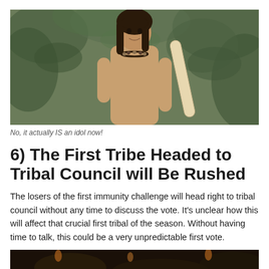[Figure (photo): Shirtless man with long dark hair and a bead necklace, holding a pale wooden stick or log, standing in front of green jungle foliage background.]
No, it actually IS an idol now!
6) The First Tribe Headed to Tribal Council will Be Rushed
The losers of the first immunity challenge will head right to tribal council without any time to discuss the vote.  It's unclear how this will affect that crucial first tribal of the season.  Without having time to talk, this could be a very unpredictable first vote.
[Figure (photo): Dark-toned image, partially visible at bottom of page, appears to show a night scene likely at tribal council.]